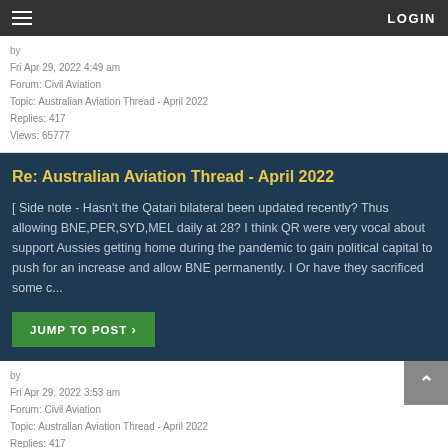LOGIN
by
Fri Apr 29, 2022 4:49 am
Forum: Civil Aviation
Topic: Australian Aviation Thread - April 2022
Replies: 417
Views: 65777
Re: Australian Aviation Thread - April 2022
[ Side note - Hasn't the Qatari bilateral been updated recently? Thus allowing BNE,PER,SYD,MEL daily at 28? I think QR were very vocal about support Aussies getting home during the pandemic to gain political capital to push for an increase and allow BNE permanently. I Or have they sacrificed some c...
JUMP TO POST  ›
by
Fri Apr 29, 2022 3:53 am
Forum: Civil Aviation
Topic: Australian Aviation Thread - April 2022
Replies: 417
Views: 65777
Re: Australian Aviation Thread - April 2022
Virgin Australia Regional (VARA) set to replace the Fokkers with 737...